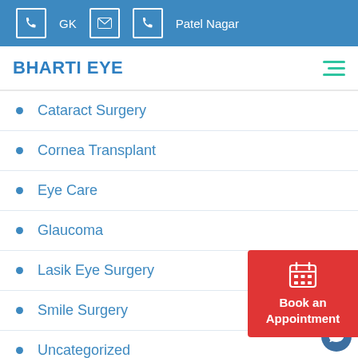GK  [phone] [email] [phone] Patel Nagar
BHARTI EYE
Cataract Surgery
Cornea Transplant
Eye Care
Glaucoma
Lasik Eye Surgery
Smile Surgery
Uncategorized
[Figure (other): Book an Appointment button with calendar icon]
[Figure (other): Chat bubble / support icon]